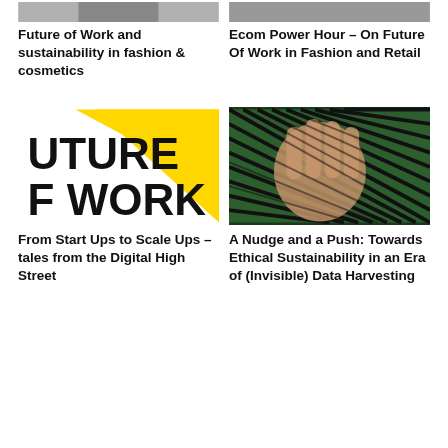[Figure (other): Partially visible image cropped at top (left column, row 1)]
Future of Work and sustainability in fashion & cosmetics
[Figure (other): Partially visible image cropped at top (right column, row 1)]
Ecom Power Hour – On Future Of Work in Fashion and Retail
[Figure (logo): Future of Work logo — yellow diagonal shape with bold black text 'FUTURE OF WORK' (partially cropped)]
From Start Ups to Scale Ups – tales from the Digital High Street
[Figure (photo): Close-up photo of a hand with green and black striped textile/wires wrapped around fingers]
A Nudge and a Push: Towards Ethical Sustainability in an Era of (Invisible) Data Harvesting